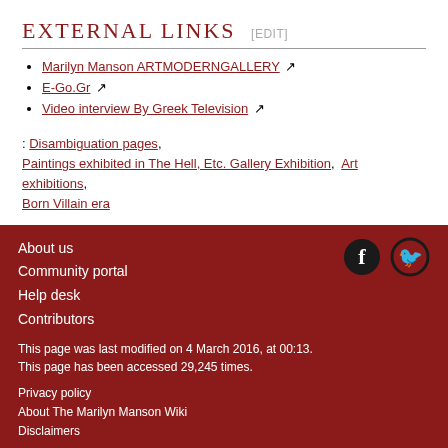External links [edit]
Marilyn Manson ARTMODERNGALLERY
E-Go.Gr
Video interview By Greek Television
: Disambiguation pages, Paintings exhibited in The Hell, Etc. Gallery Exhibition, Art exhibitions, Born Villain era
About us
Community portal
Help desk
Contributors

This page was last modified on 4 March 2016, at 00:13.
This page has been accessed 29,245 times.

Privacy policy
About The Marilyn Manson Wiki
Disclaimers